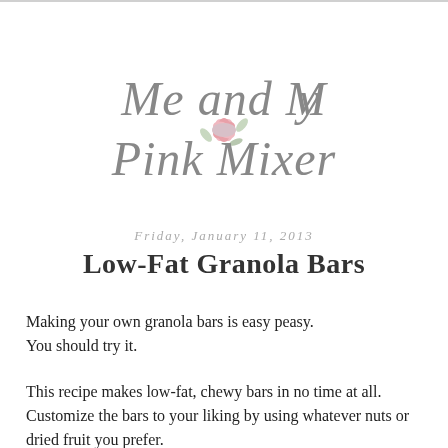[Figure (logo): Decorative script logo reading 'Me and My Pink Mixer' with floral pink accent decoration]
Friday, January 11, 2013
Low-Fat Granola Bars
Making your own granola bars is easy peasy. You should try it.
This recipe makes low-fat, chewy bars in no time at all. Customize the bars to your liking by using whatever nuts or dried fruit you prefer.